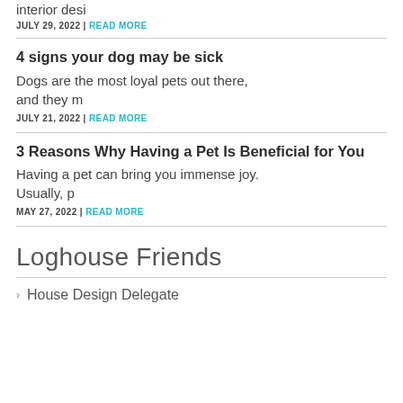interior desi
JULY 29, 2022 | READ MORE
4 signs your dog may be sick
Dogs are the most loyal pets out there, and they m
JULY 21, 2022 | READ MORE
3 Reasons Why Having a Pet Is Beneficial for You
Having a pet can bring you immense joy. Usually, p
MAY 27, 2022 | READ MORE
Loghouse Friends
House Design Delegate